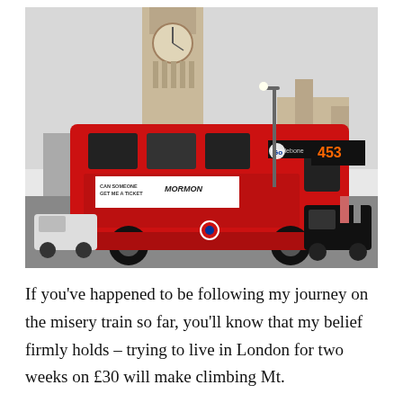[Figure (photo): A red London double-decker bus (route 453) in front of Big Ben and the Palace of Westminster. The bus has an advertisement reading 'CAN SOMEONE GET ME A TICKET' and 'MORMON'. Other vehicles and pedestrians are visible on the road.]
If you've happened to be following my journey on the misery train so far, you'll know that my belief firmly holds – trying to live in London for two weeks on £30 will make climbing Mt.